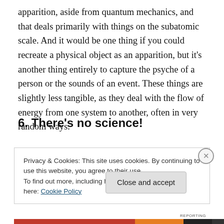apparition, aside from quantum mechanics, and that deals primarily with things on the subatomic scale. And it would be one thing if you could recreate a physical object as an apparition, but it's another thing entirely to capture the psyche of a person or the sounds of an event. These things are slightly less tangible, as they deal with the flow of energy from one system to another, often in very random ways.
6. There's no science!
Privacy & Cookies: This site uses cookies. By continuing to use this website, you agree to their use.
To find out more, including how to control cookies, see here: Cookie Policy